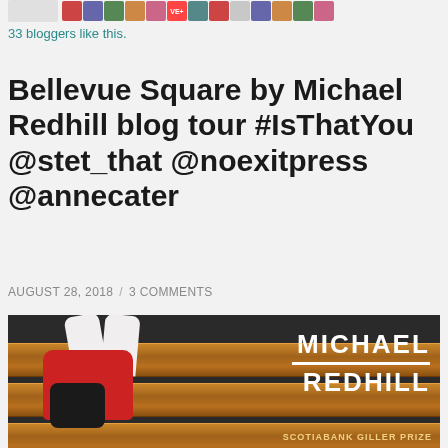[Figure (photo): Row of blogger avatar thumbnails at the top of the page, including a red badge icon labeled VE+]
33 bloggers like this.
Bellevue Square by Michael Redhill blog tour #IsThatYou @stet_that @noexitpress @annecater
AUGUST 28, 2018 / 3 COMMENTS
[Figure (photo): Book cover of Bellevue Square by Michael Redhill. A person in a red jacket and white tights sits on a wooden bench viewed from above, holding a black bag. The author name MICHAEL REDHILL appears in large white letters on the bench. The text SCOTIABANK GILLER PRIZE is shown at the bottom right.]